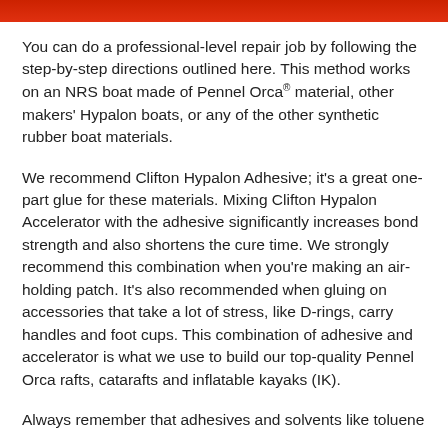[Figure (photo): Red banner image at top of page]
You can do a professional-level repair job by following the step-by-step directions outlined here. This method works on an NRS boat made of Pennel Orca® material, other makers' Hypalon boats, or any of the other synthetic rubber boat materials.
We recommend Clifton Hypalon Adhesive; it's a great one-part glue for these materials. Mixing Clifton Hypalon Accelerator with the adhesive significantly increases bond strength and also shortens the cure time. We strongly recommend this combination when you're making an air-holding patch. It's also recommended when gluing on accessories that take a lot of stress, like D-rings, carry handles and foot cups. This combination of adhesive and accelerator is what we use to build our top-quality Pennel Orca rafts, catarafts and inflatable kayaks (IK).
Always remember that adhesives and solvents like toluene